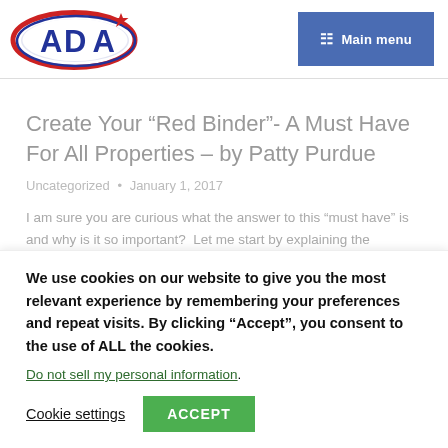[Figure (logo): ADA logo with red and blue oval design and star]
☰  Main menu
Create Your “Red Binder”- A Must Have For All Properties – by Patty Purdue
Uncategorized • January 1, 2017
I am sure you are curious what the answer to this “must have” is and why is it so important?  Let me start by explaining the purpose of an Emergency Red Binder.  Every employee should be prepared for
We use cookies on our website to give you the most relevant experience by remembering your preferences and repeat visits. By clicking “Accept”, you consent to the use of ALL the cookies.
Do not sell my personal information.
Cookie settings   ACCEPT